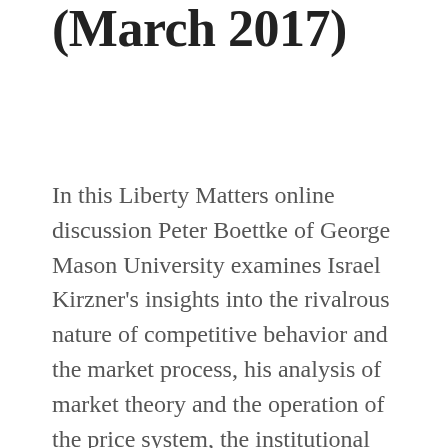(March 2017)
In this Liberty Matters online discussion Peter Boettke of George Mason University examines Israel Kirzner's insights into the rivalrous nature of competitive behavior and the market process, his analysis of market theory and the operation of the price system, the institutional environment that enables a market economy to realize mutual gains from trade and to continuously discover gains from innovation, and to produce a system characterized by economic growth and wealth creation. Boettke concludes that